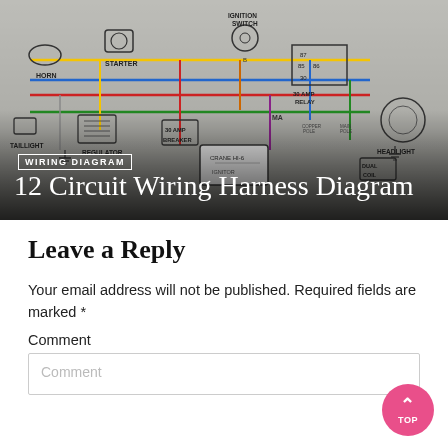[Figure (schematic): Color wiring diagram showing automotive 12 circuit wiring harness with components labeled: Horn, Starter, Ignition Switch, Taillight, Regulator, 30 Amp Breaker, 30 Amp Relay, Headlight, Dual Coil, and various colored wires and relay contacts (85, 86, 87, 30). Overlay text reads 'WIRING DIAGRAM' in a white box and '12 Circuit Wiring Harness Diagram' as title.]
Leave a Reply
Your email address will not be published. Required fields are marked *
Comment